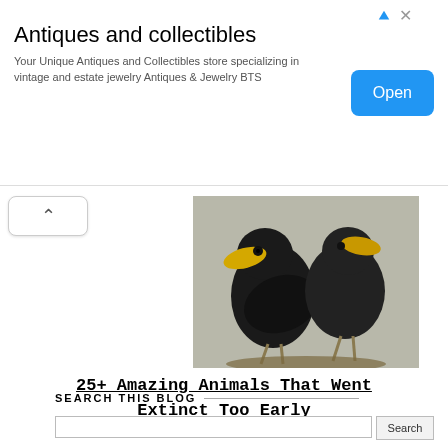[Figure (infographic): Advertisement banner for Antiques and collectibles store]
Antiques and collectibles
Your Unique Antiques and Collectibles store specializing in vintage and estate jewelry Antiques & Jewelry BTS
[Figure (photo): Two taxidermied black birds with yellow beaks perched on a mount]
25+ Amazing Animals That Went Extinct Too Early
SEARCH THIS BLOG